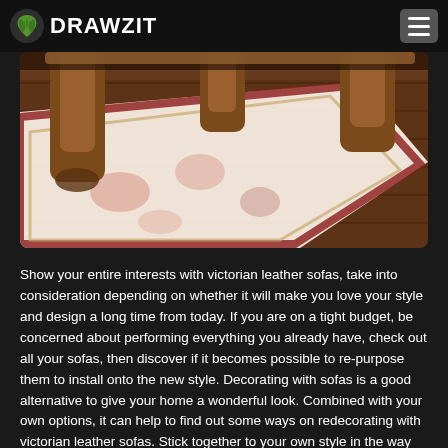DRAWZIT
[Figure (photo): Close-up photo of ornate wooden furniture legs on a Persian-style rug with cream, red, and floral patterns, placed on a dark hardwood floor]
Show your entire interests with victorian leather sofas, take into consideration depending on whether it will make you love your style and design a long time from today. If you are on a tight budget, be concerned about performing everything you already have, check out all your sofas, then discover if it becomes possible to re-purpose them to install onto the new style. Decorating with sofas is a good alternative to give your home a wonderful look. Combined with your own options, it can help to find out some ways on redecorating with victorian leather sofas. Stick together to your own style in the way you give some thought to different designs, it can help you great options and they make you stand by